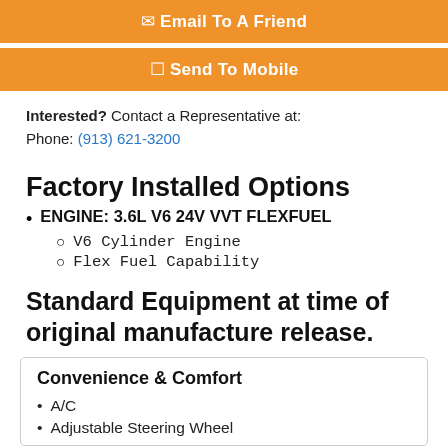Email To A Friend
Send To Mobile
Interested? Contact a Representative at:
Phone: (913) 621-3200
Factory Installed Options
ENGINE: 3.6L V6 24V VVT FLEXFUEL
V6 Cylinder Engine
Flex Fuel Capability
Standard Equipment at time of original manufacture release.
Convenience & Comfort
A/C
Adjustable Steering Wheel